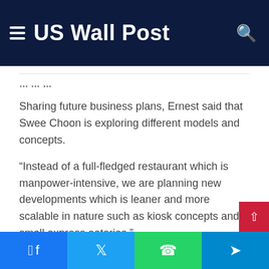US Wall Post
Sharing future business plans, Ernest said that Swee Choon is exploring different models and concepts.
“Instead of a full-fledged restaurant which is manpower-intensive, we are planning new developments which is leaner and more scalable in nature such as kiosk concepts and small express eateries.”
Swee Choon will also be opening a new outlet in Serangoon in March 2021, and are currently exploring franchising opportunities.